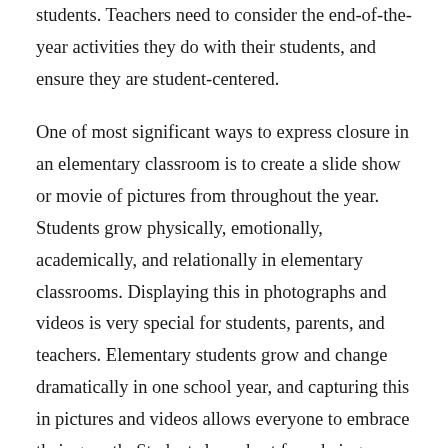students. Teachers need to consider the end-of-the-year activities they do with their students, and ensure they are student-centered.
One of most significant ways to express closure in an elementary classroom is to create a slide show or movie of pictures from throughout the year. Students grow physically, emotionally, academically, and relationally in elementary classrooms. Displaying this in photographs and videos is very special for students, parents, and teachers. Elementary students grow and change dramatically in one school year, and capturing this in pictures and videos allows everyone to embrace their growth. Students learn best from being actively involved, and they should take pictures, upload them, and assist with the video. This activity can also be academic in nature as you can use this experience to expand their learning in a myriad of ways.